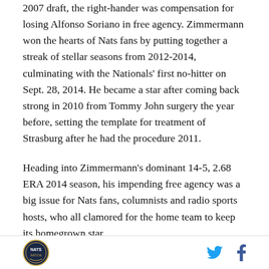2007 draft, the right-hander was compensation for losing Alfonso Soriano in free agency. Zimmermann won the hearts of Nats fans by putting together a streak of stellar seasons from 2012-2014, culminating with the Nationals' first no-hitter on Sept. 28, 2014. He became a star after coming back strong in 2010 from Tommy John surgery the year before, setting the template for treatment of Strasburg after he had the procedure 2011.
Heading into Zimmermann's dominant 14-5, 2.68 ERA 2014 season, his impending free agency was a big issue for Nats fans, columnists and radio sports hosts, who all clamored for the home team to keep its homegrown star.
Logo and social media icons